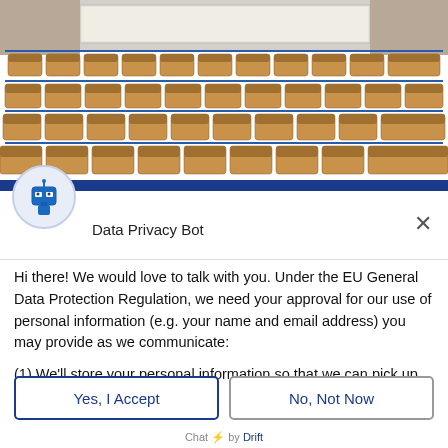[Figure (photo): Photo of a lecture hall with rows of wooden folding seats, whiteboard visible at the back.]
Data Privacy Bot
Hi there! We would love to talk with you. Under the EU General Data Protection Regulation, we need your approval for our use of personal information (e.g. your name and email address) you may provide as we communicate:
(1) We'll store your personal information so that we can pick up the conversation if we talk later.
(2) We may send you emails to follow up on our discussion here.
Yes, I Accept
No, Not Now
Chat ⚡ by Drift